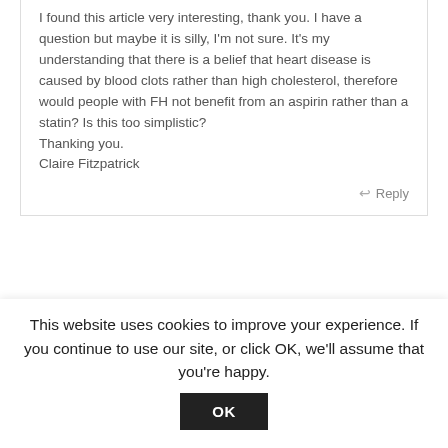I found this article very interesting, thank you. I have a question but maybe it is silly, I'm not sure. It's my understanding that there is a belief that heart disease is caused by blood clots rather than high cholesterol, therefore would people with FH not benefit from an aspirin rather than a statin? Is this too simplistic?
Thanking you.
Claire Fitzpatrick
Reply
[Figure (photo): Circular avatar photo of a blonde woman, partially visible, cropped at bottom of frame]
This website uses cookies to improve your experience. If you continue to use our site, or click OK, we'll assume that you're happy.